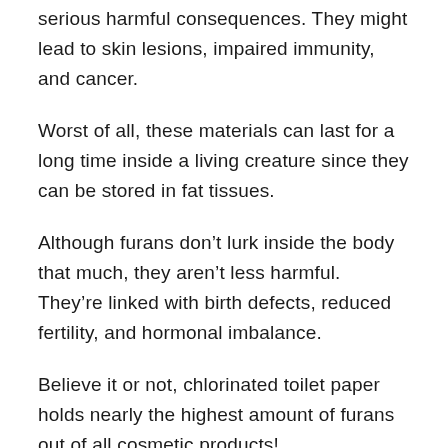serious harmful consequences. They might lead to skin lesions, impaired immunity, and cancer.
Worst of all, these materials can last for a long time inside a living creature since they can be stored in fat tissues.
Although furans don’t lurk inside the body that much, they aren’t less harmful. They’re linked with birth defects, reduced fertility, and hormonal imbalance.
Believe it or not, chlorinated toilet paper holds nearly the highest amount of furans out of all cosmetic products!